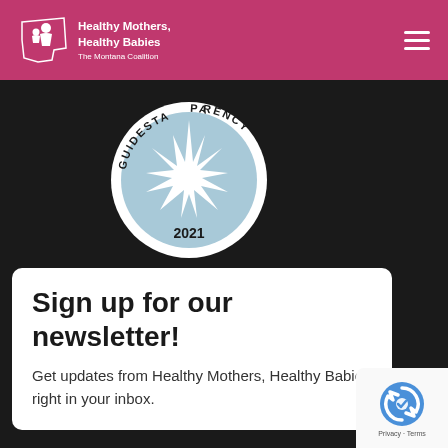Healthy Mothers, Healthy Babies – The Montana Coalition
[Figure (logo): GuideStar Transparency 2021 badge — circular seal with light blue background, white star burst in center, text around the border reading GUIDESTAR and PARENCY, 2021 at bottom]
Sign up for our newsletter!
Get updates from Healthy Mothers, Healthy Babies right in your inbox.
[Figure (logo): Google reCAPTCHA badge with circular reCAPTCHA logo and Privacy - Terms text]